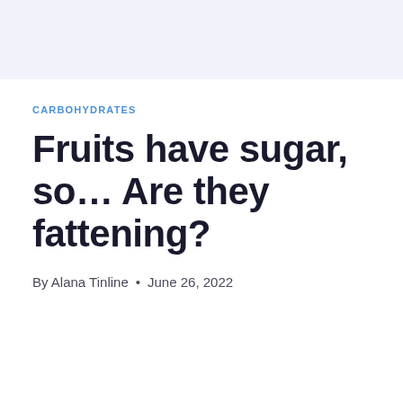CARBOHYDRATES
Fruits have sugar, so… Are they fattening?
By Alana Tinline • June 26, 2022